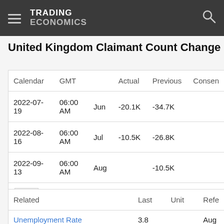TRADING ECONOMICS
United Kingdom Claimant Count Change
| Calendar | GMT |  | Actual | Previous | Consensus |
| --- | --- | --- | --- | --- | --- |
| 2022-07-19 | 06:00 AM | Jun | -20.1K | -34.7K |  |
| 2022-08-16 | 06:00 AM | Jul | -10.5K | -26.8K |  |
| 2022-09-13 | 06:00 AM | Aug |  | -10.5K |  |
| + |  |  |  |  |  |
| Related |  | Last | Unit | Reference |
| --- | --- | --- | --- | --- |
| Unemployment Rate |  | 3.8 |  | Aug |